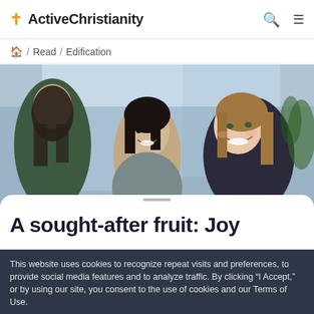ActiveChristianity
/ Read / Edification
[Figure (photo): Three young women sitting together, smiling and conversing, near a window with blurred city background. Photo taken from behind one woman facing two others.]
A sought-after fruit: Joy
This website uses cookies to recognize repeat visits and preferences, to provide social media features and to analyze traffic. By clicking “I Accept,” or by using our site, you consent to the use of cookies and our Terms of Use.
View Cookie Policy
I Accept